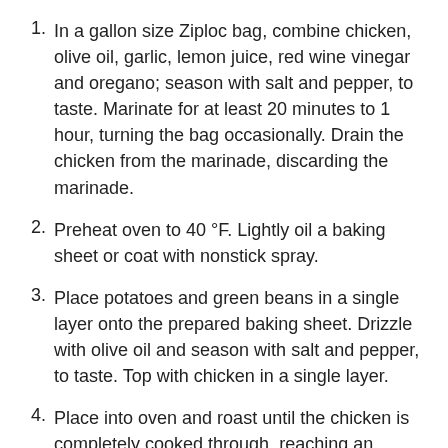In a gallon size Ziploc bag, combine chicken, olive oil, garlic, lemon juice, red wine vinegar and oregano; season with salt and pepper, to taste. Marinate for at least 20 minutes to 1 hour, turning the bag occasionally. Drain the chicken from the marinade, discarding the marinade.
Preheat oven to 40 °F. Lightly oil a baking sheet or coat with nonstick spray.
Place potatoes and green beans in a single layer onto the prepared baking sheet. Drizzle with olive oil and season with salt and pepper, to taste. Top with chicken in a single layer.
Place into oven and roast until the chicken is completely cooked through, reaching an internal temperature of 165 degrees F, about 25-30